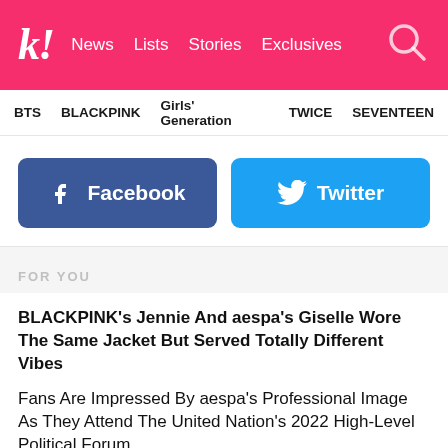k! News Lists Stories Exclusives
BTS   BLACKPINK   Girls' Generation   TWICE   SEVENTEEN
[Figure (other): Facebook and Twitter social share buttons]
FOR YOU
BLACKPINK's Jennie And aespa's Giselle Wore The Same Jacket But Served Totally Different Vibes
Fans Are Impressed By aespa's Professional Image As They Attend The United Nation's 2022 High-Level Political Forum
BLACKPINK's Jennie, IVE's Jang Wonyoung, And ITZY's